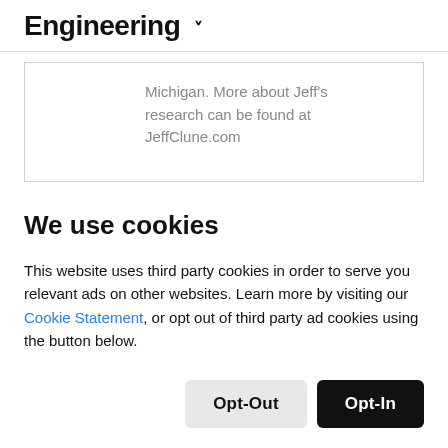Engineering ˅
Michigan. More about Jeff's research can be found at JeffClune.com
We use cookies
This website uses third party cookies in order to serve you relevant ads on other websites. Learn more by visiting our Cookie Statement, or opt out of third party ad cookies using the button below.